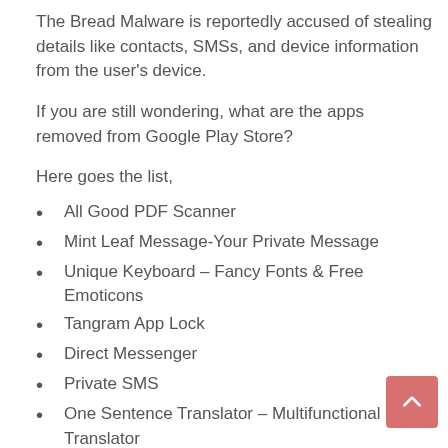The Bread Malware is reportedly accused of stealing details like contacts, SMSs, and device information from the user's device.
If you are still wondering, what are the apps removed from Google Play Store?
Here goes the list,
All Good PDF Scanner
Mint Leaf Message-Your Private Message
Unique Keyboard – Fancy Fonts & Free Emoticons
Tangram App Lock
Direct Messenger
Private SMS
One Sentence Translator – Multifunctional Translator
Style Photo Collage
Meticulous Scanner
Desire Translate
Talent Photo Editor – Blur focus
Care Message
Part M...